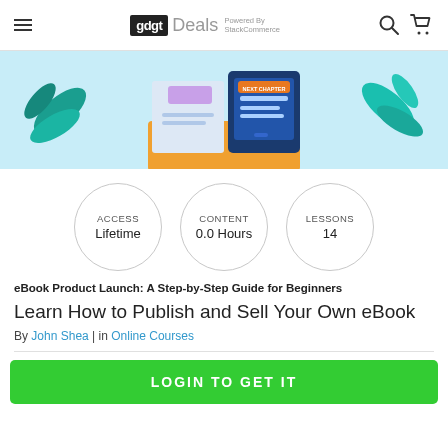gdgt Deals Powered By StackCommerce
[Figure (illustration): Hero illustration of an open book with a tablet/ebook reader showing 'NEXT CHAPTER' button, surrounded by teal leaves on a light blue background]
ACCESS Lifetime
CONTENT 0.0 Hours
LESSONS 14
eBook Product Launch: A Step-by-Step Guide for Beginners
Learn How to Publish and Sell Your Own eBook
By John Shea | in Online Courses
LOGIN TO GET IT